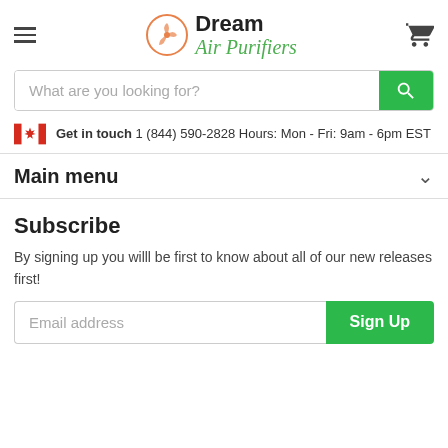[Figure (logo): Dream Air Purifiers logo with circular fan icon and brand name]
What are you looking for?
Get in touch 1 (844) 590-2828 Hours: Mon - Fri: 9am - 6pm EST
Main menu
Subscribe
By signing up you willl be first to know about all of our new releases first!
Email address
Sign Up